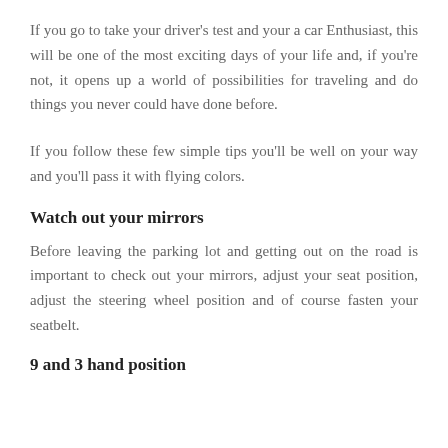If you go to take your driver's test and your a car Enthusiast, this will be one of the most exciting days of your life and, if you're not, it opens up a world of possibilities for traveling and do things you never could have done before.
If you follow these few simple tips you'll be well on your way and you'll pass it with flying colors.
Watch out your mirrors
Before leaving the parking lot and getting out on the road is important to check out your mirrors, adjust your seat position, adjust the steering wheel position and of course fasten your seatbelt.
9 and 3 hand position